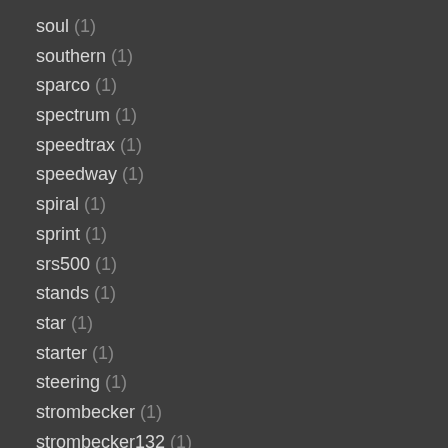soul (1)
southern (1)
sparco (1)
spectrum (1)
speedtrax (1)
speedway (1)
spiral (1)
sprint (1)
srs500 (1)
stands (1)
star (1)
starter (1)
steering (1)
strombecker (1)
strombecker132 (1)
summit (1)
super (14)
takara (5)